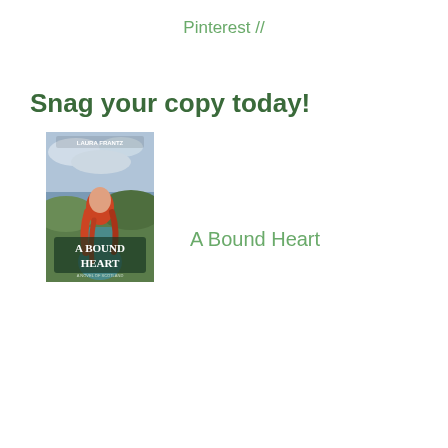Pinterest //
Snag your copy today!
[Figure (illustration): Book cover of 'A Bound Heart' by Laura Frantz showing a woman with long red hair wearing a teal/blue dress, viewed from behind, standing in a landscape with mountains. The title 'A Bound Heart' is displayed on the cover.]
A Bound Heart